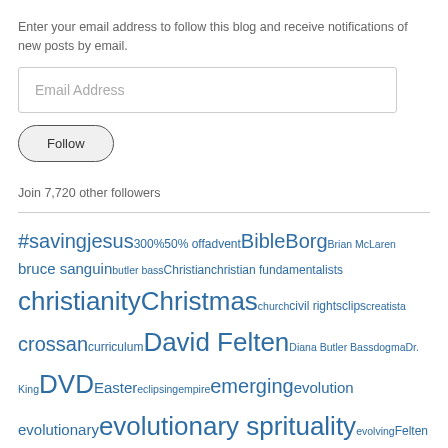Enter your email address to follow this blog and receive notifications of new posts by email.
Email Address
Follow
Join 7,720 other followers
#savingjesus 300% 50% off advent Bible Borg Brian McLaren bruce sanguin butler bass Christian christian fundamentalists christianity Christmas church civil rights clips creatista crossan curriculum David Felten Diana Butler Bass dogma Dr. King DVD Easter eclipsing empire emerging evolution evolutionary evolutionary sprituality evolving Felten first light future george ground of being HarperOne